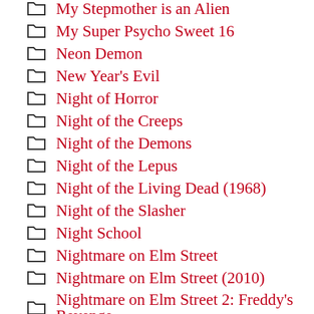My Stepmother is an Alien
My Super Psycho Sweet 16
Neon Demon
New Year's Evil
Night of Horror
Night of the Creeps
Night of the Demons
Night of the Lepus
Night of the Living Dead (1968)
Night of the Slasher
Night School
Nightmare on Elm Street
Nightmare on Elm Street (2010)
Nightmare on Elm Street 2: Freddy's Revenge
Nightmare on Elm Street 3: Dream Warriors
Nightmare on Elm Street 4: The Dream Master